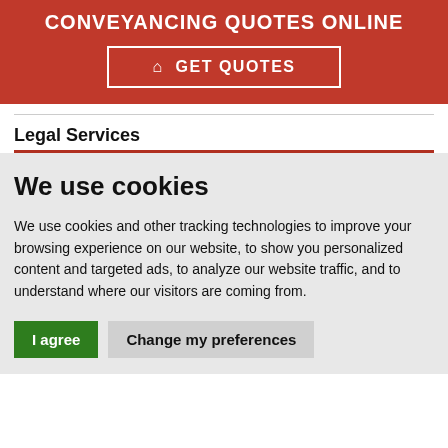CONVEYANCING QUOTES ONLINE
GET QUOTES
Legal Services
We use cookies
We use cookies and other tracking technologies to improve your browsing experience on our website, to show you personalized content and targeted ads, to analyze our website traffic, and to understand where our visitors are coming from.
I agree | Change my preferences